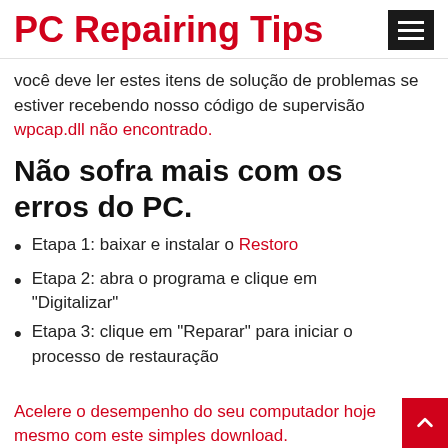PC Repairing Tips
Você deve ler estes itens de solução de problemas se estiver recebendo nosso código de supervisão wpcap.dll não encontrado.
Não sofra mais com os erros do PC.
Etapa 1: baixar e instalar o Restoro
Etapa 2: abra o programa e clique em "Digitalizar"
Etapa 3: clique em "Reparar" para iniciar o processo de restauração
Acelere o desempenho do seu computador hoje mesmo com este simples download.